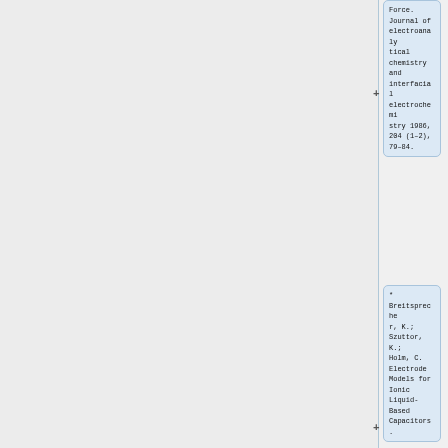Force. Journal of electroanalytical chemistry and interfacial electrochemistry 1986, 204 (1–2), 79–84.
* Breitsprecher, K.; Szuttor, K.; Holm, C. Electrode Models for Ionic Liquid-Based Capacitors.